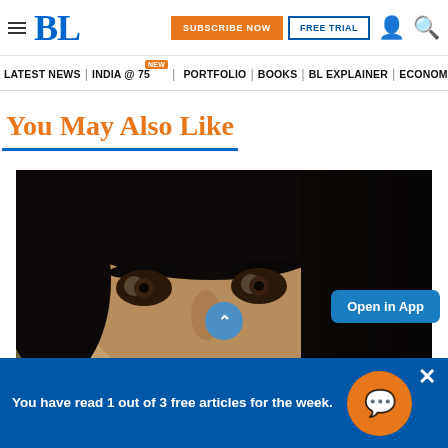BL | SUBSCRIBE NOW | FREE TRIAL
LATEST NEWS | INDIA @ 75 NEW | PORTFOLIO | BOOKS | BL EXPLAINER | ECONOMY | AGR
You May Also Like
[Figure (photo): Close-up photograph of a man's face, showing eyes and forehead, dark hair, brown eyes]
Open in App
You have read 1 out of 3 free articles for the week.